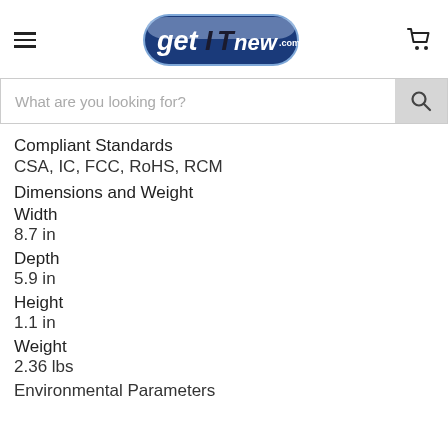[Figure (logo): getITnew.com logo — blue rounded rectangle with white and dark blue text]
What are you looking for?
Compliant Standards
CSA, IC, FCC, RoHS, RCM
Dimensions and Weight
Width
8.7 in
Depth
5.9 in
Height
1.1 in
Weight
2.36 lbs
Environmental Parameters